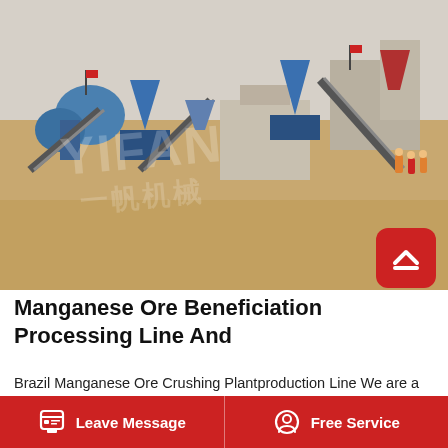[Figure (photo): Outdoor mining/beneficiation plant with blue machinery, conveyor belts, cone crushers, industrial buildings, and workers in hard hats and vests. Sandy open area. Watermark 'YIFAN' and Chinese characters overlaid.]
Manganese Ore Beneficiation Processing Line And
Brazil Manganese Ore Crushing Plantproduction Line We are a professional mining machinery manufacturer, the main equipment including jaw crusher, cone crusher and other sandstone
Leave Message   Free Service